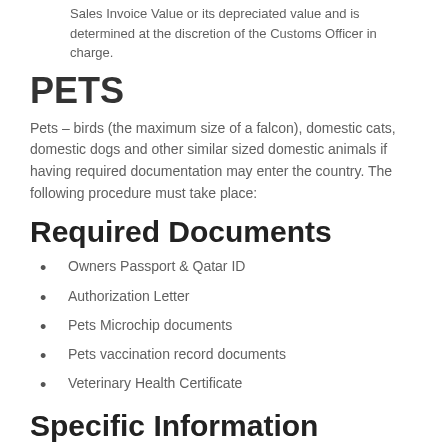Sales Invoice Value or its depreciated value and is determined at the discretion of the Customs Officer in charge.
PETS
Pets – birds (the maximum size of a falcon), domestic cats, domestic dogs and other similar sized domestic animals if having required documentation may enter the country. The following procedure must take place:
Required Documents
Owners Passport & Qatar ID
Authorization Letter
Pets Microchip documents
Pets vaccination record documents
Veterinary Health Certificate
Specific Information